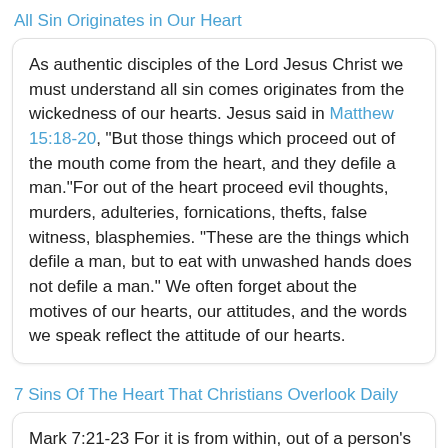All Sin Originates in Our Heart
As authentic disciples of the Lord Jesus Christ we must understand all sin comes originates from the wickedness of our hearts. Jesus said in Matthew 15:18-20, “But those things which proceed out of the mouth come from the heart, and they defile a man.”For out of the heart proceed evil thoughts, murders, adulteries, fornications, thefts, false witness, blasphemies. “These are the things which defile a man, but to eat with unwashed hands does not defile a man.” We often forget about the motives of our hearts, our attitudes, and the words we speak reflect the attitude of our hearts.
7 Sins Of The Heart That Christians Overlook Daily
Mark 7:21-23 For it is from within, out of a person’s heart, that evil thoughts come–sexual immorality, theft, murder, adultery, greed, malice, deceit,